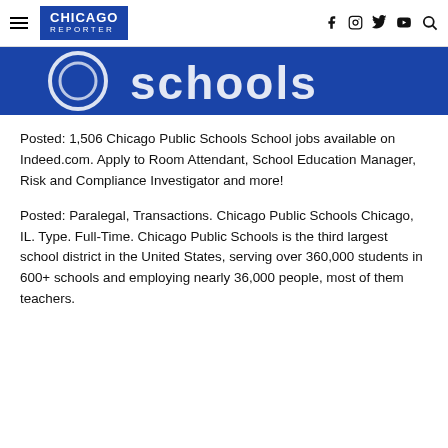CHICAGO REPORTER
[Figure (photo): Chicago Public Schools banner image with white text on blue background showing 'schools' partially visible]
Posted: 1,506 Chicago Public Schools School jobs available on Indeed.com. Apply to Room Attendant, School Education Manager, Risk and Compliance Investigator and more!
Posted: Paralegal, Transactions. Chicago Public Schools Chicago, IL. Type. Full-Time. Chicago Public Schools is the third largest school district in the United States, serving over 360,000 students in 600+ schools and employing nearly 36,000 people, most of them teachers.